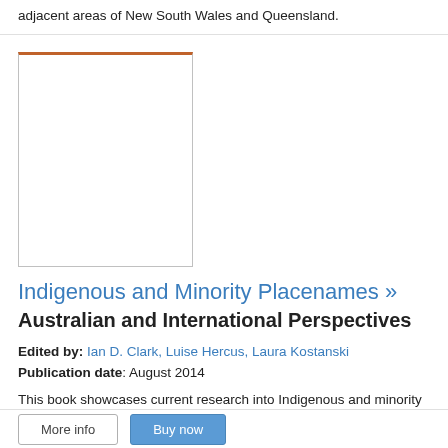adjacent areas of New South Wales and Queensland.
[Figure (illustration): Book cover image placeholder with orange/brown top border and white interior]
Indigenous and Minority Placenames » Australian and International Perspectives
Edited by: Ian D. Clark, Luise Hercus, Laura Kostanski
Publication date: August 2014
This book showcases current research into Indigenous and minority placenames in Australia and internationally. Many of the chapters in this volume originated as papers at a Trends in…